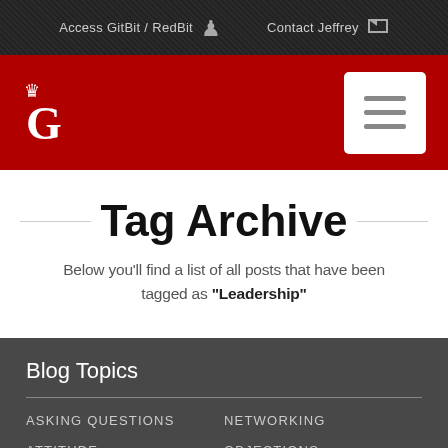Access GitBit / RedBit   Contact Jeffrey
[Figure (logo): Red header bar with white crown and G logo on left, white hamburger menu button on right]
Tag Archive
Below you'll find a list of all posts that have been tagged as “Leadership”
Blog Topics
ASKING QUESTIONS
NETWORKING
ATTITUDE
OBJECTIONS